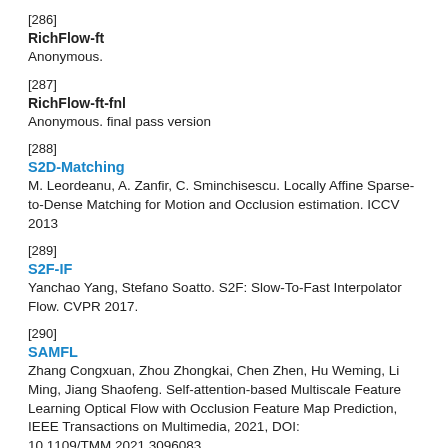[286]
RichFlow-ft
Anonymous.
[287]
RichFlow-ft-fnl
Anonymous. final pass version
[288]
S2D-Matching
M. Leordeanu, A. Zanfir, C. Sminchisescu. Locally Affine Sparse-to-Dense Matching for Motion and Occlusion estimation. ICCV 2013
[289]
S2F-IF
Yanchao Yang, Stefano Soatto. S2F: Slow-To-Fast Interpolator Flow. CVPR 2017.
[290]
SAMFL
Zhang Congxuan, Zhou Zhongkai, Chen Zhen, Hu Weming, Li Ming, Jiang Shaofeng. Self-attention-based Multiscale Feature Learning Optical Flow with Occlusion Feature Map Prediction, IEEE Transactions on Multimedia, 2021, DOI: 10.1109/TMM.2021.3096083.